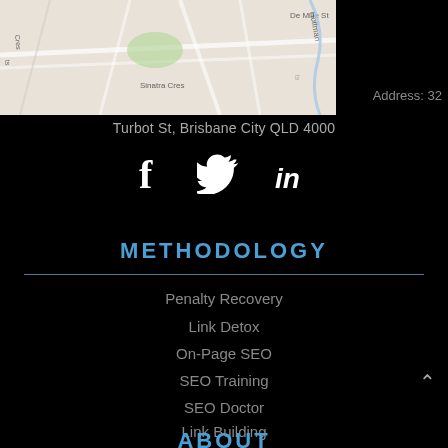[Figure (map): Street map showing De Mille St, Hoffman, Sinatra Cres area in Brisbane]
Address: 32
Turbot St, Brisbane City QLD 4000
[Figure (infographic): Social media icons: Facebook, Twitter, LinkedIn]
METHODOLOGY
Penalty Recovery
Link Detox
On-Page SEO
SEO Training
SEO Doctor
Link Building
ABOUT